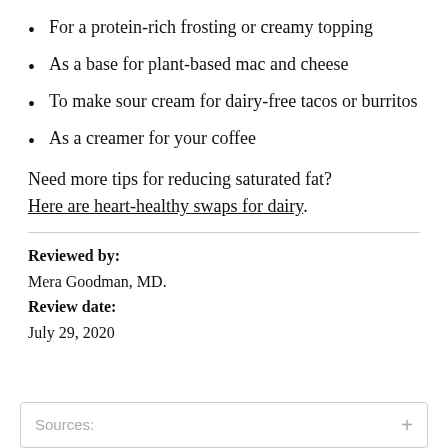For a protein-rich frosting or creamy topping
As a base for plant-based mac and cheese
To make sour cream for dairy-free tacos or burritos
As a creamer for your coffee
Need more tips for reducing saturated fat? Here are heart-healthy swaps for dairy.
Reviewed by: Mera Goodman, MD. Review date: July 29, 2020
Sources: